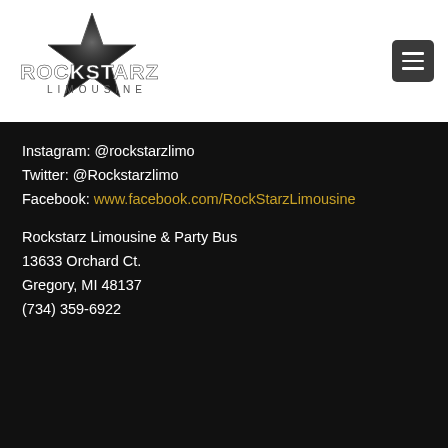[Figure (logo): RockStarz Limousine logo — black star with stylized white text on white background]
Instagram: @rockstarzlimo
Twitter: @Rockstarzlimo
Facebook: www.facebook.com/RockStarzLimousine
Rockstarz Limousine & Party Bus
13633 Orchard Ct.
Gregory, MI 48137
(734) 359-6922